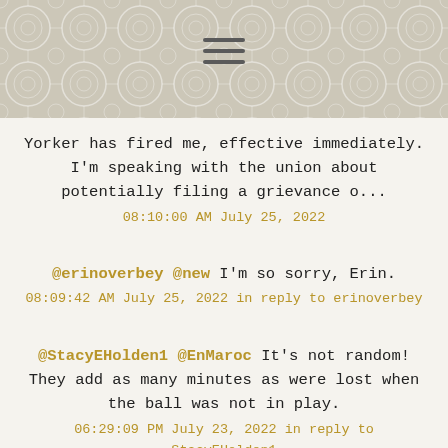[decorative pattern header with hamburger menu icon]
Yorker has fired me, effective immediately. I'm speaking with the union about potentially filing a grievance o... 08:10:00 AM July 25, 2022
@erinoverbey @new I'm so sorry, Erin. 08:09:42 AM July 25, 2022 in reply to erinoverbey
@StacyEHolden1 @EnMaroc It's not random! They add as many minutes as were lost when the ball was not in play. 06:29:09 PM July 23, 2022 in reply to StacyEHolden1
@paperhaus Happy birthday,